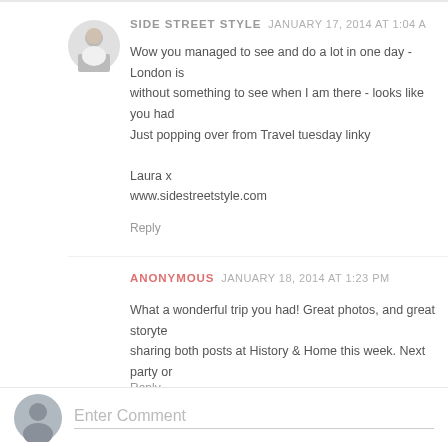SIDE STREET STYLE JANUARY 17, 2014 AT 1:04 A
Wow you managed to see and do a lot in one day - London is without something to see when I am there - looks like you had Just popping over from Travel tuesday linky

Laura x
www.sidestreetstyle.com
Reply
ANONYMOUS JANUARY 18, 2014 AT 1:23 PM
What a wonderful trip you had! Great photos, and great storyte sharing both posts at History & Home this week. Next party or Call It Junkin.com
Reply
Enter Comment